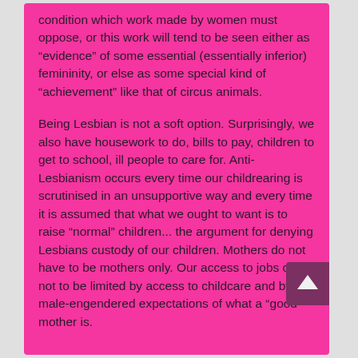condition which work made by women must oppose, or this work will tend to be seen either as “evidence” of some essential (essentially inferior) femininity, or else as some special kind of “achievement” like that of circus animals.
Being Lesbian is not a soft option. Surprisingly, we also have housework to do, bills to pay, children to get to school, ill people to care for. Anti-Lesbianism occurs every time our childrearing is scrutinised in an unsupportive way and every time it is assumed that what we ought to want is to raise “normal” children... the argument for denying Lesbians custody of our children. Mothers do not have to be mothers only. Our access to jobs ought not to be limited by access to childcare and by male-engendered expectations of what a “good” mother is.